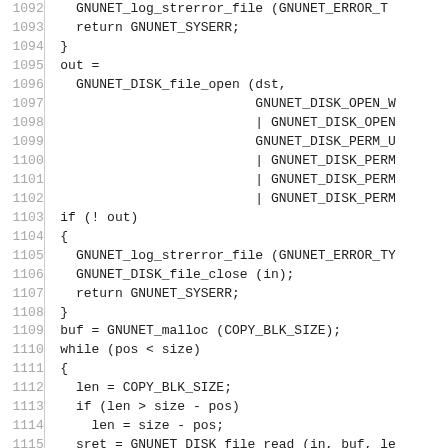[Figure (screenshot): Source code listing showing C code lines 1092-1122 involving GNUnet file copy operations including GNUNET_DISK_file_open, GNUNET_malloc, while loop with GNUNET_DISK_file_read and GNUNET_DISK_file_write calls]